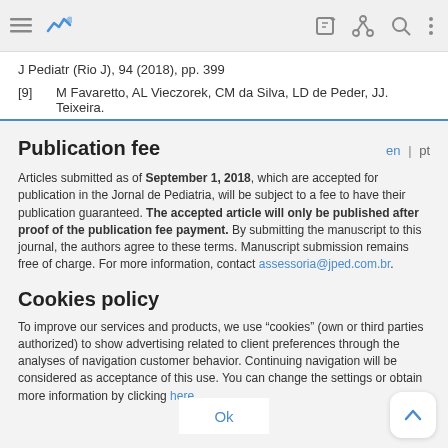J Pediatr (Rio J), 94 (2018), pp. 399
[9]   M Favaretto, AL Vieczorek, CM da Silva, LD de Peder, JJ. Teixeira.
Publication fee
Articles submitted as of September 1, 2018, which are accepted for publication in the Jornal de Pediatria, will be subject to a fee to have their publication guaranteed. The accepted article will only be published after proof of the publication fee payment. By submitting the manuscript to this journal, the authors agree to these terms. Manuscript submission remains free of charge. For more information, contact assessoria@jped.com.br.
Cookies policy
To improve our services and products, we use "cookies" (own or third parties authorized) to show advertising related to client preferences through the analyses of navigation customer behavior. Continuing navigation will be considered as acceptance of this use. You can change the settings or obtain more information by clicking here.